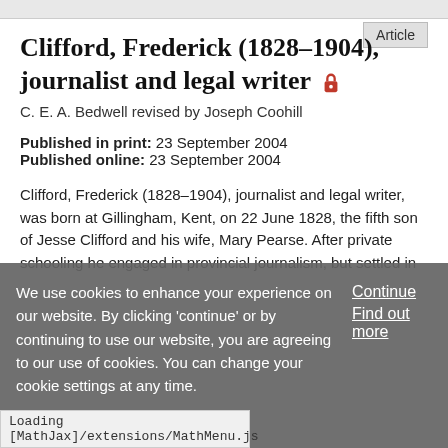Article
Clifford, Frederick (1828–1904), journalist and legal writer 🔒
C. E. A. Bedwell revised by Joseph Coohill
Published in print: 23 September 2004
Published online: 23 September 2004
Clifford, Frederick (1828–1904), journalist and legal writer, was born at Gillingham, Kent, on 22 June 1828, the fifth son of Jesse Clifford and his wife, Mary Pearse. After private schooling he engaged in provincial journalism, but settled in
We use cookies to enhance your experience on our website. By clicking 'continue' or by continuing to use our website, you are agreeing to our use of cookies. You can change your cookie settings at any time.
Continue
Find out more
Loading [MathJax]/extensions/MathMenu.js